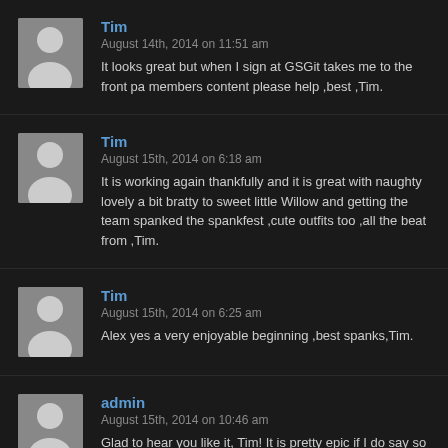Tim
August 14th, 2014 on 11:51 am
It looks great but when I sign at GSGit takes me to the front pa members content please help ,best ,Tim.
Tim
August 15th, 2014 on 6:18 am
It is working again thankfully and it is great with naughty lovely a bit bratty to sweet little Willow and getting the team spanked the spankfest ,cute outfits too ,all the beat from ,Tim.
Tim
August 15th, 2014 on 6:25 am
Alex yes a very enjoyable beginning ,best spanks,Tim.
admin
August 15th, 2014 on 10:46 am
Glad to hear you like it, Tim! It is pretty epic if I do say so myse